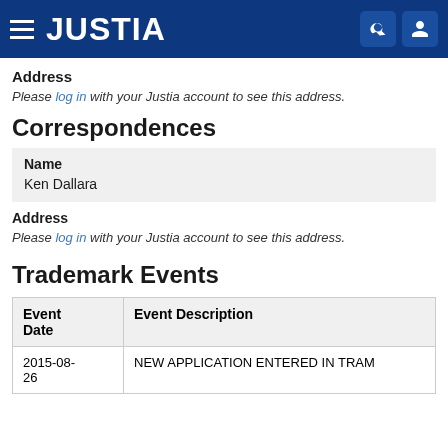JUSTIA
Address
Please log in with your Justia account to see this address.
Correspondences
Name
Ken Dallara
Address
Please log in with your Justia account to see this address.
Trademark Events
| Event Date | Event Description |
| --- | --- |
| 2015-08-26 | NEW APPLICATION ENTERED IN TRAM |